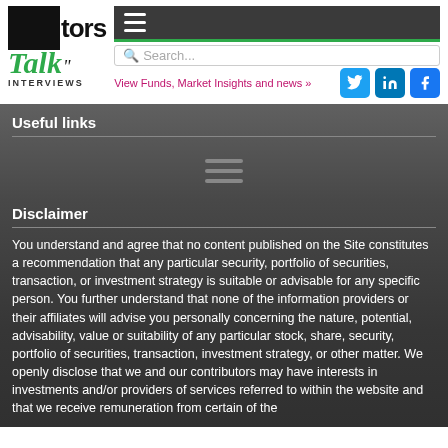Investors Talk Interviews
View Funds, Market Insights and news »
Useful links
[Figure (other): Hamburger menu icon centered in the useful links section]
Disclaimer
You understand and agree that no content published on the Site constitutes a recommendation that any particular security, portfolio of securities, transaction, or investment strategy is suitable or advisable for any specific person. You further understand that none of the information providers or their affiliates will advise you personally concerning the nature, potential, advisability, value or suitability of any particular stock, share, security, portfolio of securities, transaction, investment strategy, or other matter. We openly disclose that we and our contributors may have interests in investments and/or providers of services referred to within the website and that we receive remuneration from certain of the